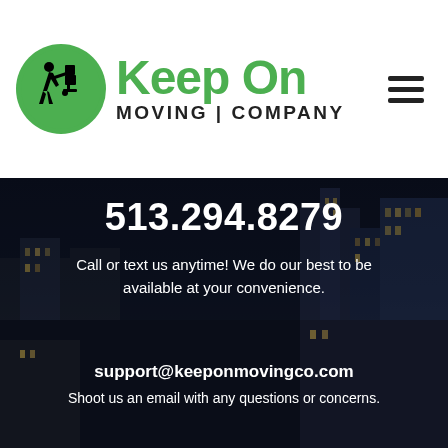[Figure (logo): Keep On Moving Company logo: green circle with silhouette of person pushing boxes on dolly, green 'Keep On' text, black 'MOVING | COMPANY' text below]
513.294.8279
Call or text us anytime! We do our best to be available at your convenience.
[Figure (illustration): White email/messaging icon: two overlapping message windows with envelope symbol]
support@keeponmovingco.com
Shoot us an email with any questions or concerns.